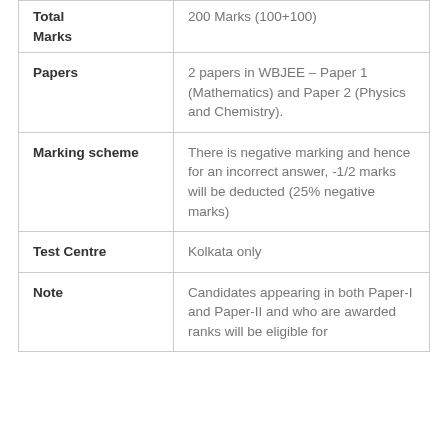| Field | Details |
| --- | --- |
| Total Marks | 200 Marks (100+100) |
| Papers | 2 papers in WBJEE – Paper 1 (Mathematics) and Paper 2 (Physics and Chemistry). |
| Marking scheme | There is negative marking and hence for an incorrect answer, -1/2 marks will be deducted (25% negative marks) |
| Test Centre | Kolkata only |
| Note | Candidates appearing in both Paper-I and Paper-II and who are awarded ranks will be eligible for |